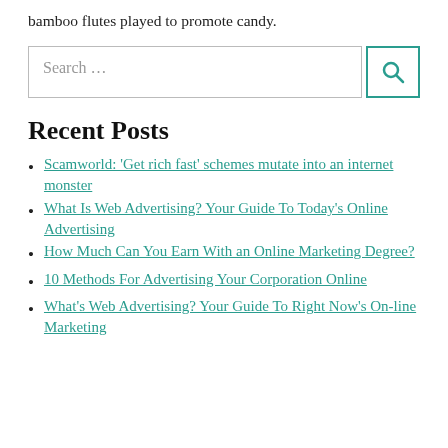bamboo flutes played to promote candy.
Recent Posts
Scamworld: 'Get rich fast' schemes mutate into an internet monster
What Is Web Advertising? Your Guide To Today's Online Advertising
How Much Can You Earn With an Online Marketing Degree?
10 Methods For Advertising Your Corporation Online
What's Web Advertising? Your Guide To Right Now's On-line Marketing